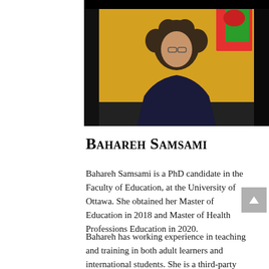[Figure (photo): Portrait photo of Bahareh Samsami, a woman with curly hair sitting in front of a colorful mural with yellow background]
Bahareh Samsami
Bahareh Samsami is a PhD candidate in the Faculty of Education, at the University of Ottawa. She obtained her Master of Education in 2018 and Master of Health Professions Education in 2020.
Bahareh has working experience in teaching and training in both adult learners and international students. She is a third-party assessor and training developer for various private career colleges, private health organizations,